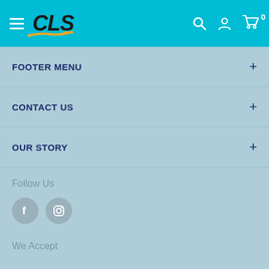[Figure (logo): CLS logo with stylized italic bold text and orange/yellow swoosh arrow underneath, on teal/cyan header bar with hamburger menu, search icon, user icon, and cart icon with 0 badge]
FOOTER MENU
CONTACT US
OUR STORY
Follow Us
[Figure (infographic): Facebook and Instagram social media circular icon buttons in muted gray-blue color]
We Accept